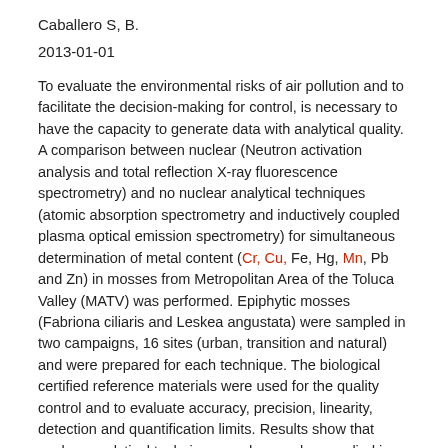Caballero S, B.
2013-01-01
To evaluate the environmental risks of air pollution and to facilitate the decision-making for control, is necessary to have the capacity to generate data with analytical quality. A comparison between nuclear (Neutron activation analysis and total reflection X-ray fluorescence spectrometry) and no nuclear analytical techniques (atomic absorption spectrometry and inductively coupled plasma optical emission spectrometry) for simultaneous determination of metal content (Cr, Cu, Fe, Hg, Mn, Pb and Zn) in mosses from Metropolitan Area of the Toluca Valley (MATV) was performed. Epiphytic mosses (Fabriona ciliaris and Leskea angustata) were sampled in two campaigns, 16 sites (urban, transition and natural) and were prepared for each technique. The biological certified reference materials were used for the quality control and to evaluate accuracy, precision, linearity, detection and quantification limits. Results show that nuclear analytical techniques and no nuclear applied in chemical analysis of Cr, Cu, Fe, Hg, Mn, Pb and Zn in moss from MATV are comparable and therefore all of these can